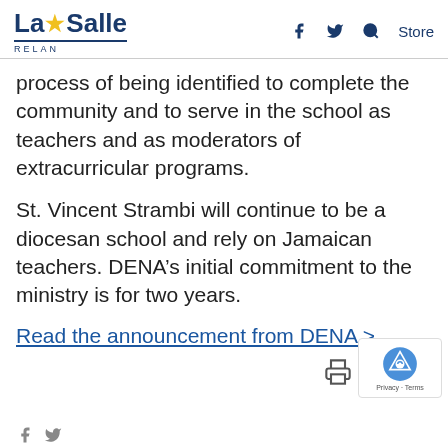La Salle RELAN — navigation with Store link
process of being identified to complete the community and to serve in the school as teachers and as moderators of extracurricular programs.
St. Vincent Strambi will continue to be a diocesan school and rely on Jamaican teachers. DENA's initial commitment to the ministry is for two years.
Read the announcement from DENA >